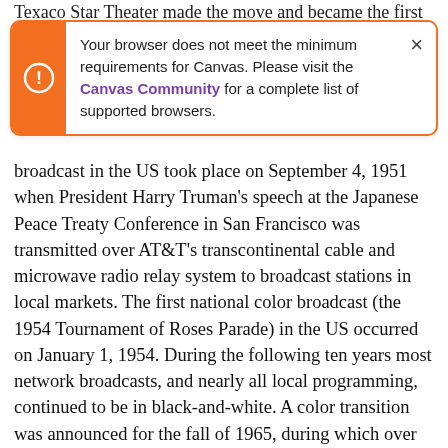Texaco Star Theater made the move and became the first
[Figure (screenshot): Browser compatibility warning notification banner with orange left bar and exclamation icon. Text reads: 'Your browser does not meet the minimum requirements for Canvas. Please visit the Canvas Community for a complete list of supported browsers.' with a close (×) button.]
broadcast in the US took place on September 4, 1951 when President Harry Truman's speech at the Japanese Peace Treaty Conference in San Francisco was transmitted over AT&T's transcontinental cable and microwave radio relay system to broadcast stations in local markets. The first national color broadcast (the 1954 Tournament of Roses Parade) in the US occurred on January 1, 1954. During the following ten years most network broadcasts, and nearly all local programming, continued to be in black-and-white. A color transition was announced for the fall of 1965, during which over half of all network prime-time programming would be broadcast in color. The first all-color prime-time season came just one year later. In 19402, the last holdout among daytime network shows converted to color, resulting in the for a complete list of supported browsers.